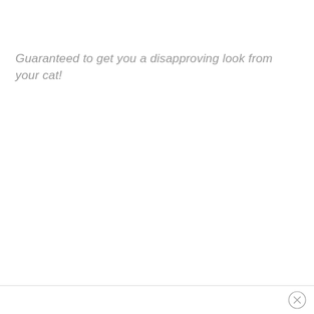Guaranteed to get you a disapproving look from your cat!
[Figure (other): Close/dismiss button (circle with X) in bottom-right corner]